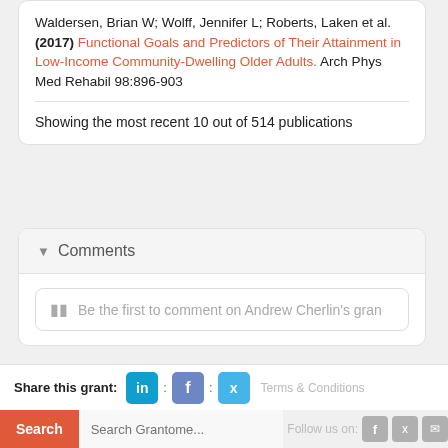Waldersen, Brian W; Wolff, Jennifer L; Roberts, Laken et al. (2017) Functional Goals and Predictors of Their Attainment in Low-Income Community-Dwelling Older Adults. Arch Phys Med Rehabil 98:896-903
Showing the most recent 10 out of 514 publications
Comments
Be the first to comment on Andrew Cherlin's gran
Share this grant:
Terms & Conditions
Search
Search Grantome...
Follow us on: